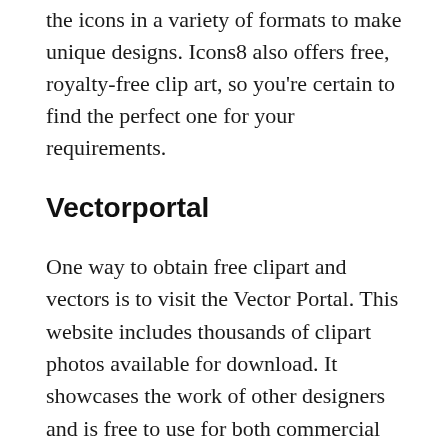the icons in a variety of formats to make unique designs. Icons8 also offers free, royalty-free clip art, so you're certain to find the perfect one for your requirements.
Vectorportal
One way to obtain free clipart and vectors is to visit the Vector Portal. This website includes thousands of clipart photos available for download. It showcases the work of other designers and is free to use for both commercial and personal projects. In addition, it comes with an extensive collection of vectors from stock that include AI and EPS formats. This makes it simple to